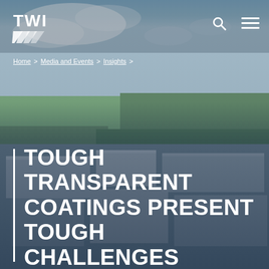[Figure (photo): Aerial photograph of TWI industrial campus showing large warehouse/research buildings with green fields and cloudy sky in background, with dark overlay]
TWI logo, search icon, menu icon
Home > Media and Events > Insights >
TOUGH TRANSPARENT COATINGS PRESENT TOUGH CHALLENGES